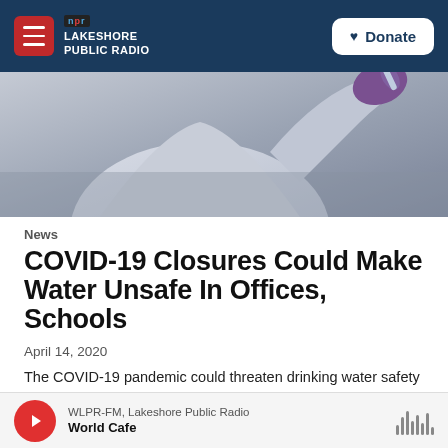NPR Lakeshore Public Radio — Donate
[Figure (photo): A person in a white lab coat and purple gloves holding up a test tube or vial in a laboratory setting]
News
COVID-19 Closures Could Make Water Unsafe In Offices, Schools
April 14, 2020
The COVID-19 pandemic could threaten drinking water safety in buildings that have been closed. Purdue University is working quickly with other
WLPR-FM, Lakeshore Public Radio — World Cafe